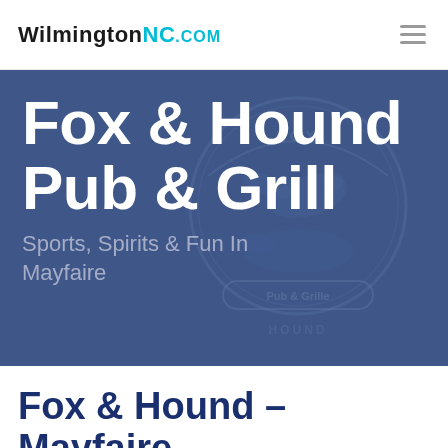WilmingtonNC.com
[Figure (photo): Dark blue overlay banner with Fox & Hound Pub & Grille logo watermark (circular emblem with bird/hound silhouette) in background]
Fox & Hound Pub & Grill
Sports, Spirits & Fun In Mayfaire
Fox & Hound – Mayfaire